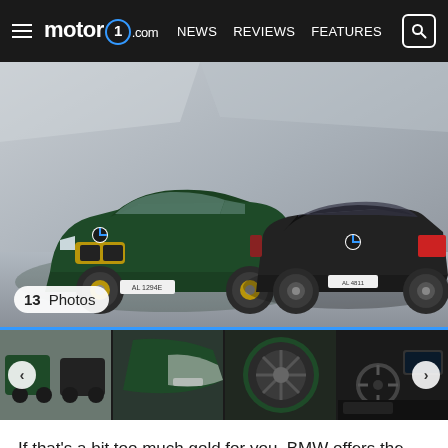motor1.com  NEWS  REVIEWS  FEATURES
[Figure (photo): Two BMW X2 vehicles in a studio setting — one green (front view, left) and one dark/black (rear view, right). Badge overlay reads '13 Photos'.]
[Figure (photo): Thumbnail strip with 4 images of the BMW X2 Edition GoldPlay: full side shot, detail of bodywork, wheel close-up, interior.]
If that's a bit too much gold for you, BMW offers the Edition GoldPlay with just the gold wheel trim on the outside, but it requires giving up the San Remo Green metallic exterior – a brand new option for the X2 and